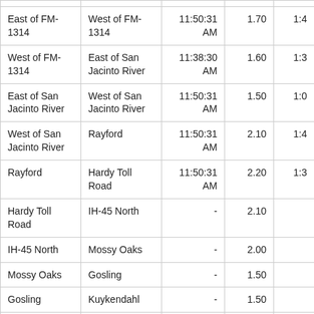| From | To | Time | Miles | Travel Time |
| --- | --- | --- | --- | --- |
| East of FM-1314 | West of FM-1314 | 11:50:31 AM | 1.70 | 1:4 |
| West of FM-1314 | East of San Jacinto River | 11:38:30 AM | 1.60 | 1:3 |
| East of San Jacinto River | West of San Jacinto River | 11:50:31 AM | 1.50 | 1:0 |
| West of San Jacinto River | Rayford | 11:50:31 AM | 2.10 | 1:4 |
| Rayford | Hardy Toll Road | 11:50:31 AM | 2.20 | 1:3 |
| Hardy Toll Road | IH-45 North | - | 2.10 |  |
| IH-45 North | Mossy Oaks | - | 2.00 |  |
| Mossy Oaks | Gosling | - | 1.50 |  |
| Gosling | Kuykendahl | - | 1.50 |  |
| Kuykendahl | FM-2920 | - | 2.00 |  |